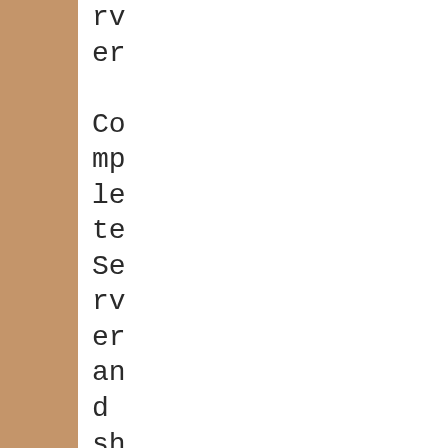rv
er

Co
mp
le
te
Se
rv
er
an
d
sh
ar
e
ma
na
ge
me
nt
ca
n
be
do
ne
vi
a
my
pa